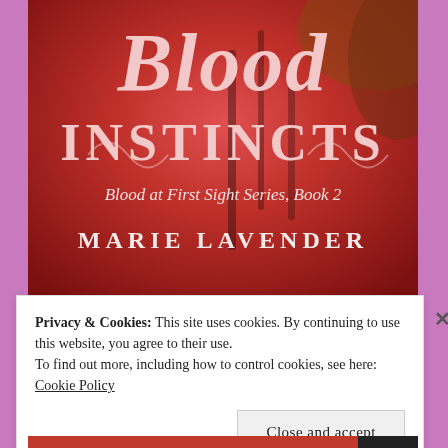[Figure (illustration): Book cover for 'Blood Instincts' by Marie Lavender. Red-toned cover showing a woman's face partially visible. Title text 'BLOOD INSTINCTS' in large serif font in cream/pink color. Subtitle 'Blood at First Sight Series, Book 2' and author name 'MARIE LAVENDER' displayed below.]
Privacy & Cookies: This site uses cookies. By continuing to use this website, you agree to their use.
To find out more, including how to control cookies, see here: Cookie Policy
Close and accept